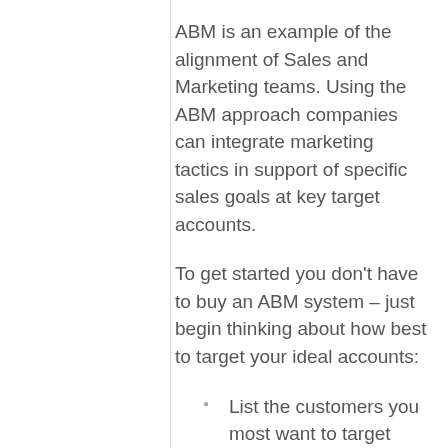ABM is an example of the alignment of Sales and Marketing teams. Using the ABM approach companies can integrate marketing tactics in support of specific sales goals at key target accounts.
To get started you don't have to buy an ABM system – just begin thinking about how best to target your ideal accounts:
List the customers you most want to target
Identify individuals at those organizations using LinkedIn and other resources